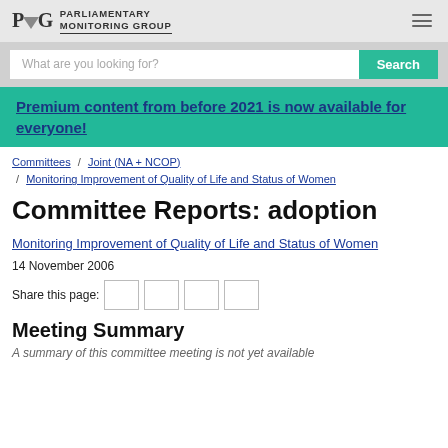PMG PARLIAMENTARY MONITORING GROUP
What are you looking for? Search
Premium content from before 2021 is now available for everyone!
Committees / Joint (NA + NCOP) / Monitoring Improvement of Quality of Life and Status of Women
Committee Reports: adoption
Monitoring Improvement of Quality of Life and Status of Women
14 November 2006
Share this page:
Meeting Summary
A summary of this committee meeting is not yet available